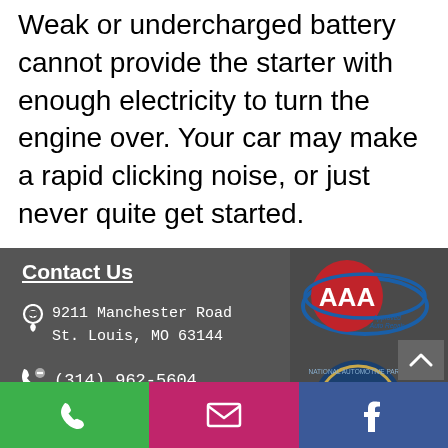Weak or undercharged battery cannot provide the starter with enough electricity to turn the engine over. Your car may make a rapid clicking noise, or just never quite get started.
Contact Us
9211 Manchester Road
St. Louis, MO 63144
(314) 962-5604
Business Hours
MON-FRI: 8:00am - 5:30pm
SAT&SUN: CLOSED
[Figure (logo): AAA Approved Auto Repair logo]
[Figure (logo): NAPA Gold Certified badge]
[Figure (logo): 36 Months 36,000 Miles warranty badge]
[Figure (logo): ACE certification badge (partially visible)]